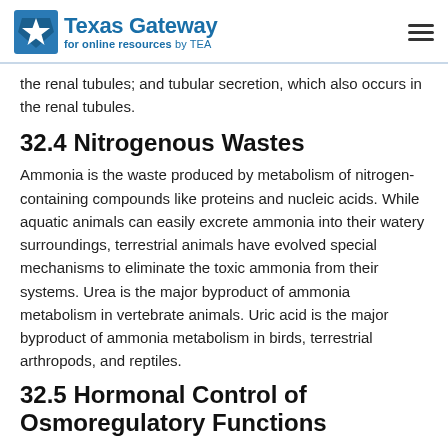Texas Gateway for online resources by TEA
the renal tubules; and tubular secretion, which also occurs in the renal tubules.
32.4 Nitrogenous Wastes
Ammonia is the waste produced by metabolism of nitrogen-containing compounds like proteins and nucleic acids. While aquatic animals can easily excrete ammonia into their watery surroundings, terrestrial animals have evolved special mechanisms to eliminate the toxic ammonia from their systems. Urea is the major byproduct of ammonia metabolism in vertebrate animals. Uric acid is the major byproduct of ammonia metabolism in birds, terrestrial arthropods, and reptiles.
32.5 Hormonal Control of Osmoregulatory Functions
Hormonal cues help the kidneys synchronize the osmotic needs of the body. Hormones like epinephrine, norepinephrine, renin-angiotensin, aldosterone, anti-diuretic hormone, and atrial natriuretic peptide help regulate the needs of the body, all...